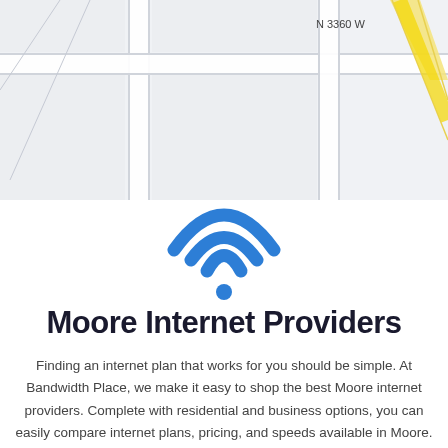[Figure (map): Street map showing intersection with label 'N 3360 W', featuring road lines on a light gray/white background with a yellow diagonal road in upper right.]
[Figure (illustration): Blue WiFi icon with three arcs and a dot at the bottom center.]
Moore Internet Providers
Finding an internet plan that works for you should be simple. At Bandwidth Place, we make it easy to shop the best Moore internet providers. Complete with residential and business options, you can easily compare internet plans, pricing, and speeds available in Moore.